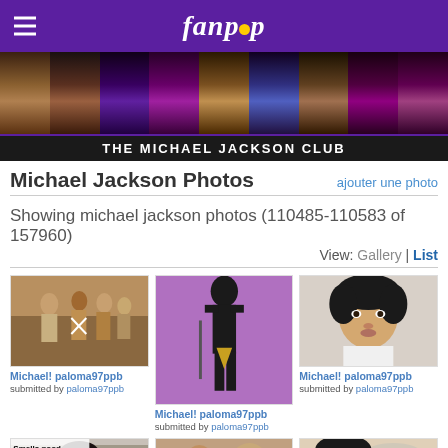fanpop
[Figure (photo): Fanpop website screenshot showing The Michael Jackson Club photo gallery page with collage banner of Michael Jackson photos]
THE MICHAEL JACKSON CLUB
Michael Jackson Photos
ajouter une photo
Showing michael jackson photos (110485-110583 of 157960)
View: Gallery | List
[Figure (photo): Michael Jackson in military-style outfit with security personnel]
Michael! paloma97ppb
submitted by paloma97ppb
[Figure (photo): Michael Jackson performing on stage, purple background]
Michael! paloma97ppb
submitted by paloma97ppb
[Figure (photo): Michael Jackson lying down, close-up portrait]
Michael! paloma97ppb
submitted by paloma97ppb
[Figure (photo): Michael Jackson meme with text 'Smells good... KFC right? No.']
[Figure (photo): Michael Jackson with another person, candid photo]
[Figure (photo): Michael Jackson with another person, close-up]